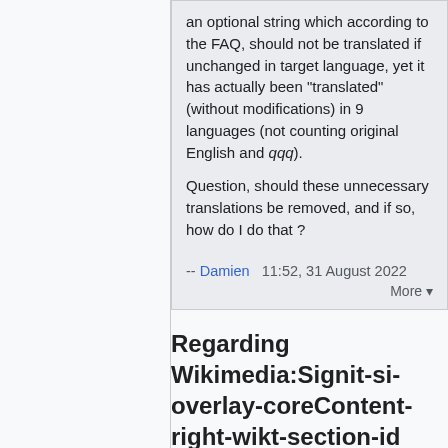an optional string which according to the FAQ, should not be translated if unchanged in target language, yet it has actually been "translated" (without modifications) in 9 languages (not counting original English and qqq).
Question, should these unnecessary translations be removed, and if so, how do I do that ?
-- Damien   11:52, 31 August 2022
Regarding Wikimedia:Signit-si-overlay-coreContent-right-wikt-section-id
History   Summarize